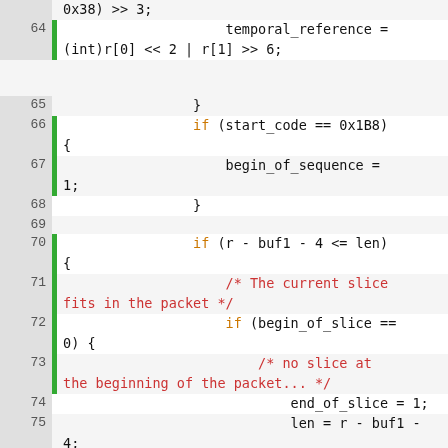[Figure (screenshot): Source code listing showing C code lines 64-87 with syntax highlighting. Keywords in orange, comments in red, regular code in black. Line numbers shown in gray background on the left with green vertical bar markers on some lines.]